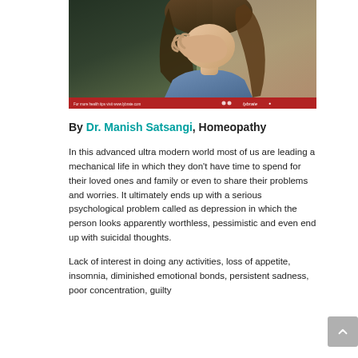[Figure (photo): A woman covering her face with her hands, appearing distressed, with a lybrate.com watermark bar at the bottom.]
By Dr. Manish Satsangi, Homeopathy
In this advanced ultra modern world most of us are leading a mechanical life in which they don't have time to spend for their loved ones and family or even to share their problems and worries. It ultimately ends up with a serious psychological problem called as depression in which the person looks apparently worthless, pessimistic and even end up with suicidal thoughts.
Lack of interest in doing any activities, loss of appetite, insomnia, diminished emotional bonds, persistent sadness, poor concentration, guilty